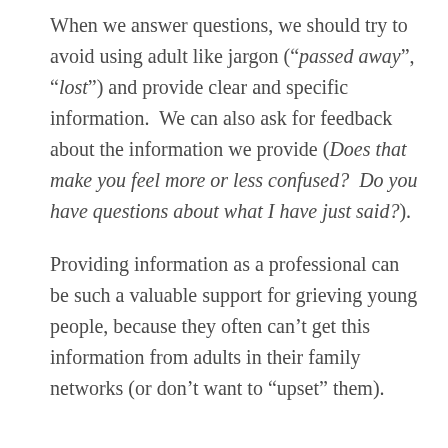When we answer questions, we should try to avoid using adult like jargon (“passed away”, “lost”) and provide clear and specific information. We can also ask for feedback about the information we provide (Does that make you feel more or less confused? Do you have questions about what I have just said?).
Providing information as a professional can be such a valuable support for grieving young people, because they often can’t get this information from adults in their family networks (or don’t want to “upset” them).